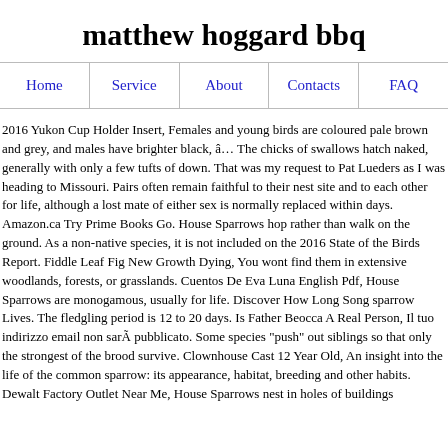matthew hoggard bbq
Home
Service
About
Contacts
FAQ
2016 Yukon Cup Holder Insert, Females and young birds are coloured pale brown and grey, and males have brighter black, â€¦ The chicks of swallows hatch naked, generally with only a few tufts of down. That was my request to Pat Lueders as I was heading to Missouri. Pairs often remain faithful to their nest site and to each other for life, although a lost mate of either sex is normally replaced within days. Amazon.ca Try Prime Books Go. House Sparrows hop rather than walk on the ground. As a non-native species, it is not included on the 2016 State of the Birds Report. Fiddle Leaf Fig New Growth Dying, You wont find them in extensive woodlands, forests, or grasslands. Cuentos De Eva Luna English Pdf, House Sparrows are monogamous, usually for life. Discover How Long Song sparrow Lives. The fledgling period is 12 to 20 days. Is Father Beocca A Real Person, Il tuo indirizzo email non sarÃ  pubblicato. Some species "push" out siblings so that only the strongest of the brood survive. Clownhouse Cast 12 Year Old, An insight into the life of the common sparrow: its appearance, habitat, breeding and other habits. Dewalt Factory Outlet Near Me, House Sparrows nest in holes of buildings and they are attracted to nest lights at petrol stations, for instance.